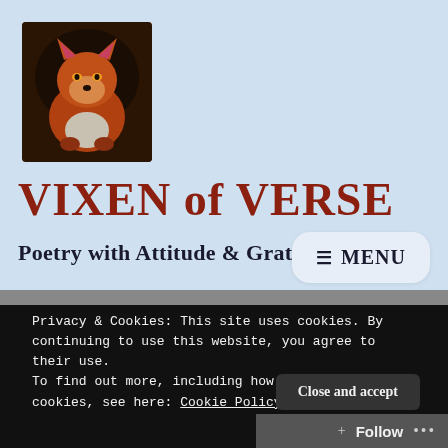[Figure (photo): A red fox resting in a hollow log or burrow, looking sideways at the camera, with orange-brown fur and white/grey chest visible.]
VIXEN of VERSE
Poetry with Attitude & Gratitude
≡ MENU
Privacy & Cookies: This site uses cookies. By continuing to use this website, you agree to their use.
To find out more, including how to control cookies, see here: Cookie Policy
Close and accept
Follow ...